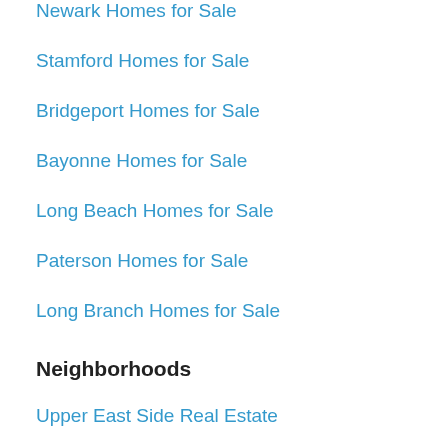Newark Homes for Sale
Stamford Homes for Sale
Bridgeport Homes for Sale
Bayonne Homes for Sale
Long Beach Homes for Sale
Paterson Homes for Sale
Long Branch Homes for Sale
Neighborhoods
Upper East Side Real Estate
Upper West Side Real Estate
Midtown East Real Estate
Harlem Real Estate
Chelsea Real Estate
Financial District Real Estate
Midtown Real Estate